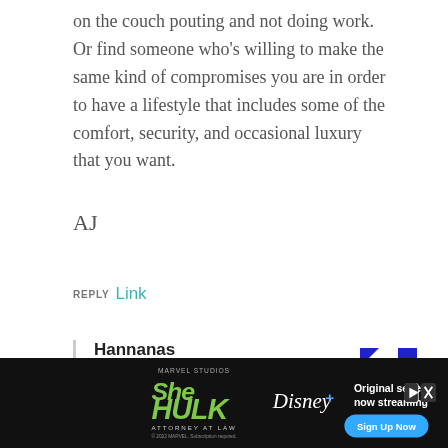on the couch pouting and not doing work. Or find someone who's willing to make the same kind of compromises you are in order to have a lifestyle that includes some of the comfort, security, and occasional luxury that you want.
AJ
REPLY Link
Hannanas
Oh what a great answer!
REPLY Link
[Figure (other): She-Hulk Attorney at Law Disney+ advertisement banner with Sign Up Now button]